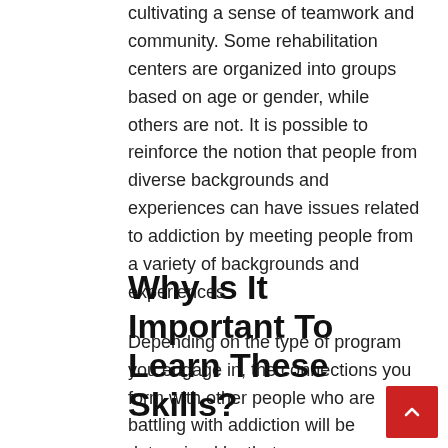cultivating a sense of teamwork and community. Some rehabilitation centers are organized into groups based on age or gender, while others are not. It is possible to reinforce the notion that people from diverse backgrounds and experiences can have issues related to addiction by meeting people from a variety of backgrounds and experiences.

Depending on the type of program you engage in, the connections you form with other people who are battling with addiction will be determined by that program.
Why Is It Important To Learn These Skills?